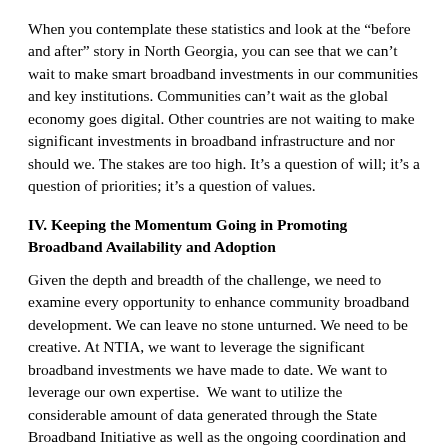When you contemplate these statistics and look at the “before and after” story in North Georgia, you can see that we can’t wait to make smart broadband investments in our communities and key institutions. Communities can’t wait as the global economy goes digital. Other countries are not waiting to make significant investments in broadband infrastructure and nor should we. The stakes are too high. It’s a question of will; it’s a question of priorities; it’s a question of values.
IV. Keeping the Momentum Going in Promoting Broadband Availability and Adoption
Given the depth and breadth of the challenge, we need to examine every opportunity to enhance community broadband development. We can leave no stone unturned. We need to be creative. At NTIA, we want to leverage the significant broadband investments we have made to date. We want to leverage our own expertise.  We want to utilize the considerable amount of data generated through the State Broadband Initiative as well as the ongoing coordination and planning underway in every state. And we want to tap the expertise across the Commerce Department and the Executive branch to tackle this challenge. Looking ahead, I trust we can engage with you to keep moving the needle on broadband.
As NTIA successfully winds down the BTOP program, we have